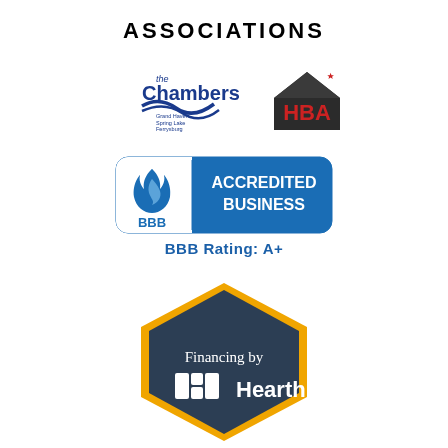ASSOCIATIONS
[Figure (logo): The Chamber Grand Haven Spring Lake Ferrysburg logo (blue text with wave/swoosh) and HBA (Home Builders Association) logo with red/dark house icon]
[Figure (logo): BBB Accredited Business badge - blue rounded rectangle with BBB flame logo on left and 'ACCREDITED BUSINESS' text on right]
BBB Rating: A+
[Figure (logo): Financing by Hearth logo inside a dark navy hexagon shape with gold border, white text reading 'Financing by' and Hearth logo icon]